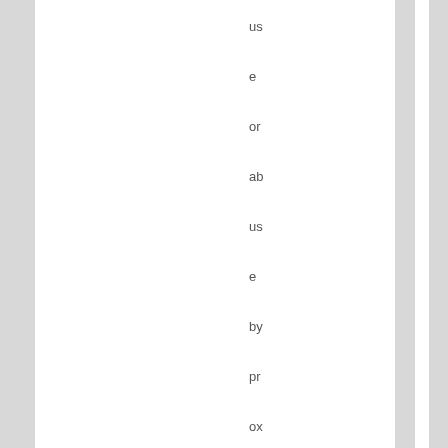use or abuse by proxy. It does not come out of th